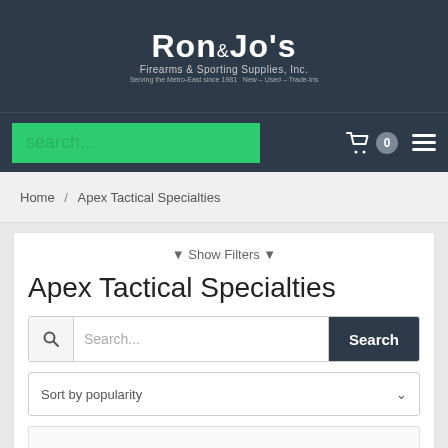[Figure (logo): Ron & Jo's Firearms & Sporting Supplies, Inc. logo with white text on dark navy background]
search...
0
Home / Apex Tactical Specialties
▼ Show Filters ▼
Apex Tactical Specialties
Search...  Search
Sort by popularity